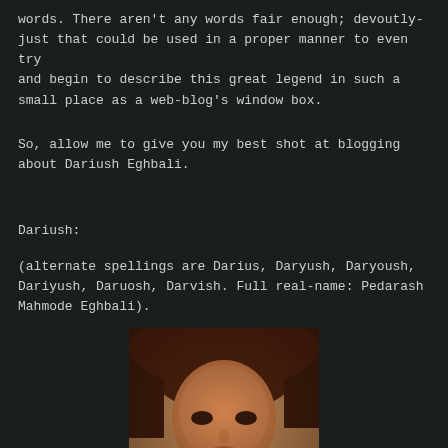words. There aren't any words fair enough; devoutly-just that could be used in a proper manner to even try and begin to describe this great legend in such a small place as a web-blog's window box.
So, allow me to give you my best shot at blogging about Dariush Eghbali.
Dariush:
(alternate spellings are Darius, Daryush, Daryoush, Dariyush, Daruosh, Darvish. Full real-name: Pedarash Mahmode Eghbali).
[Figure (photo): Sepia-toned portrait photograph of Dariush Eghbali, showing a young man with dark voluminous hair and a direct gaze.]